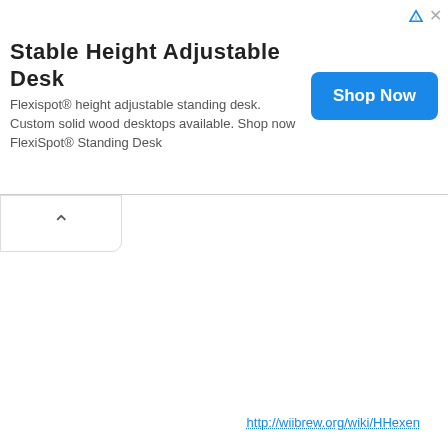Stable Height Adjustable Desk
Flexispot® height adjustable standing desk. Custom solid wood desktops available. Shop now FlexiSpot® Standing Desk
[Figure (other): Blue 'Shop Now' button for advertisement]
[Figure (other): Collapsed/minimized tab with chevron up arrow]
http://wiibrew.org/wiki/HHexen